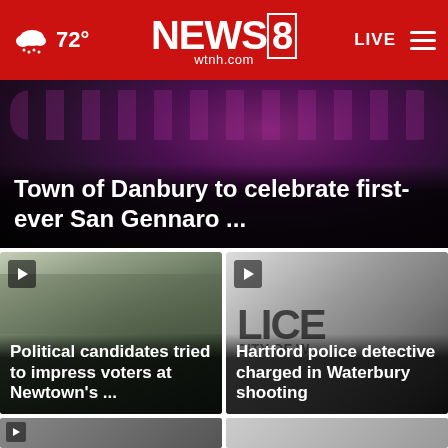NEWS8 wtnh.com — 72° — LIVE
[Figure (screenshot): Hero image showing decorative dark background with the headline overlay: Town of Danbury to celebrate first-ever San Gennaro ...]
Town of Danbury to celebrate first-ever San Gennaro ...
[Figure (photo): Outdoor gathering of people with American flags at Newtown event, with overlay headline: Political candidates tried to impress voters at Newtown's ...]
Political candidates tried to impress voters at Newtown's ...
[Figure (photo): Close-up of a Waterbury police car door with badge insignia, with overlay headline: Hartford police detective charged in Waterbury shooting]
Hartford police detective charged in Waterbury shooting
[Figure (photo): Partially visible bottom-left story card with play button]
[Figure (photo): Partially visible bottom-right story card]